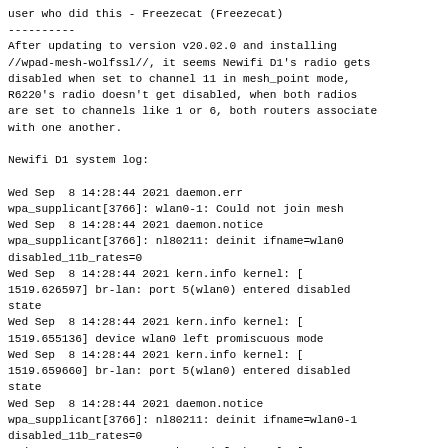user who did this - Freezecat (Freezecat)
----------
After updating to version v20.02.0 and installing //wpad-mesh-wolfssl//, it seems Newifi D1's radio gets disabled when set to channel 11 in mesh_point mode, R6220's radio doesn't get disabled, when both radios are set to channels like 1 or 6, both routers associate with one another.
Newifi D1 system log:
Wed Sep  8 14:28:44 2021 daemon.err
wpa_supplicant[3766]: wlan0-1: Could not join mesh
Wed Sep  8 14:28:44 2021 daemon.notice
wpa_supplicant[3766]: nl80211: deinit ifname=wlan0 disabled_11b_rates=0
Wed Sep  8 14:28:44 2021 kern.info kernel: [
1519.626597] br-lan: port 5(wlan0) entered disabled state
Wed Sep  8 14:28:44 2021 kern.info kernel: [
1519.655136] device wlan0 left promiscuous mode
Wed Sep  8 14:28:44 2021 kern.info kernel: [
1519.659660] br-lan: port 5(wlan0) entered disabled state
Wed Sep  8 14:28:44 2021 daemon.notice
wpa_supplicant[3766]: nl80211: deinit ifname=wlan0-1 disabled_11b_rates=0
Wed Sep  8 14:28:44 2021 kern.info kernel: [
1519.812995] br-lan: port 6(wlan0-1) entered disabled state